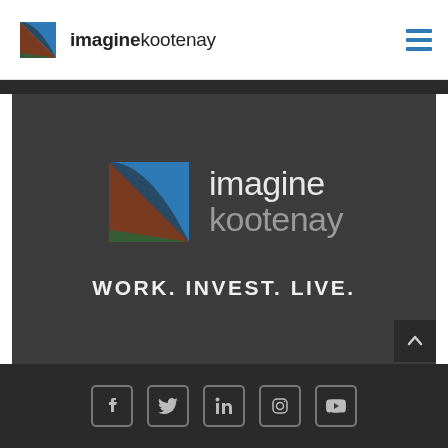[Figure (logo): Imagine Kootenay logo in header with colorful square icon and text]
[Figure (logo): Imagine Kootenay hero banner with logo, tagline WORK. INVEST. LIVE. on dark background]
[Figure (infographic): Footer with social media icons: Facebook, Twitter, LinkedIn, Instagram, YouTube]